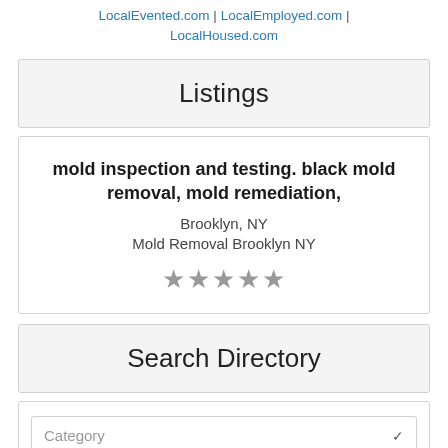LocalEvented.com | LocalEmployed.com | LocalHoused.com
Listings
mold inspection and testing. black mold removal, mold remediation, Brooklyn, NY Mold Removal Brooklyn NY ★★★★★
Search Directory
Category